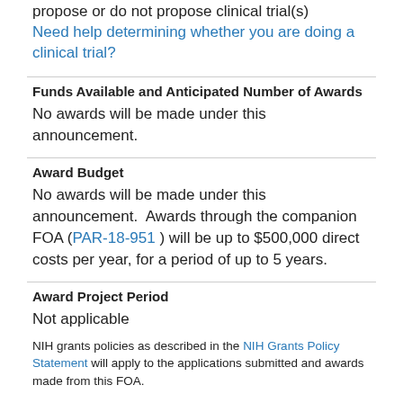propose or do not propose clinical trial(s)
Need help determining whether you are doing a clinical trial?
Funds Available and Anticipated Number of Awards
No awards will be made under this announcement.
Award Budget
No awards will be made under this announcement.  Awards through the companion FOA (PAR-18-951 ) will be up to $500,000 direct costs per year, for a period of up to 5 years.
Award Project Period
Not applicable
NIH grants policies as described in the NIH Grants Policy Statement will apply to the applications submitted and awards made from this FOA.